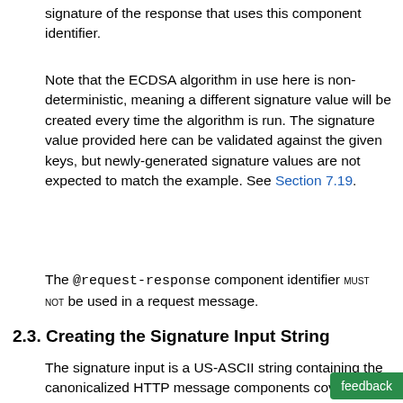signature of the response that uses this component identifier.
Note that the ECDSA algorithm in use here is non-deterministic, meaning a different signature value will be created every time the algorithm is run. The signature value provided here can be validated against the given keys, but newly-generated signature values are not expected to match the example. See Section 7.19.
The @request-response component identifier MUST NOT be used in a request message.
2.3. Creating the Signature Input String
The signature input is a US-ASCII string containing the canonicalized HTTP message components covered by the signature. The input to the signature input creation algorithm is the list of covered component identifiers their associated parameters along with additional